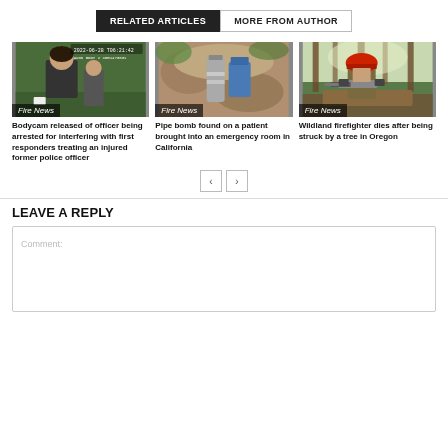RELATED ARTICLES | MORE FROM AUTHOR
[Figure (photo): Bodycam footage screenshot showing police officer being arrested outdoors, timestamp visible at top]
Fire News
Bodycam released of officer being arrested for interfering with first responders treating an injured former police officer
[Figure (photo): Close-up of pipe bomb found against a wall or rock surface with blue container nearby]
Fire News
Pipe bomb found on a patient brought into an emergency room in California
[Figure (photo): Wildland firefighter wearing red helmet using a chainsaw in a forest]
Fire News
Wildland firefighter dies after being struck by a tree in Oregon
LEAVE A REPLY
Comment: